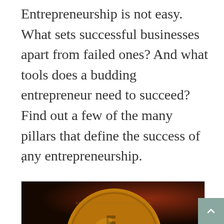Entrepreneurship is not easy. What sets successful businesses apart from failed ones? And what tools does a budding entrepreneur need to succeed? Find out a few of the many pillars that define the success of any entrepreneurship.
.
[Figure (photo): Close-up photo of a gold Bitcoin coin against a dark reddish-brown background, partially cropped showing the coin's embossed surface detail.]